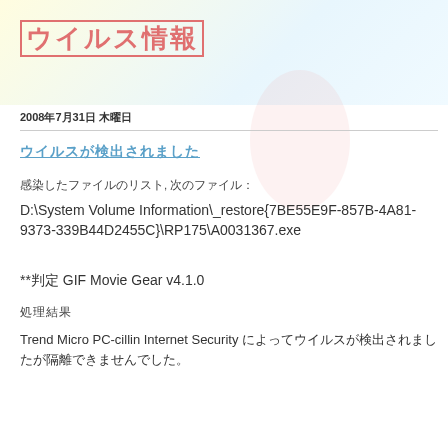ウイルス情報
2008年7月31日 木曜日
ウイルスが検出されました
感染したファイルのリスト, 次のファイル :
D:\System Volume Information\_restore{7BE55E9F-857B-4A81-9373-339B44D2455C}\RP175\A0031367.exe
**判定 GIF Movie Gear v4.1.0
処理結果
Trend Micro PC-cillin Internet Security によってウイルスが検出されましたが隔離できませんでした。